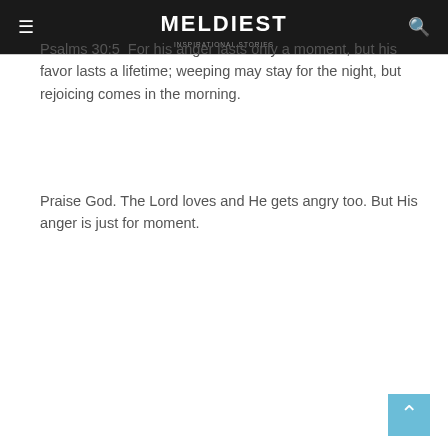MELDIEST
Psalms 30:5  For his anger lasts only a moment, but his favor lasts a lifetime; weeping may stay for the night, but rejoicing comes in the morning.
Praise God. The Lord loves and He gets angry too. But His anger is just for moment.